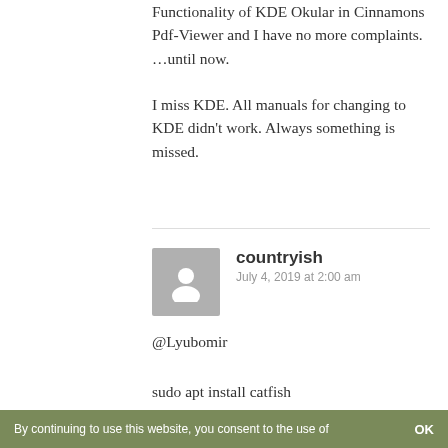Functionality of KDE Okular in Cinnamons Pdf-Viewer and I have no more complaints.
…until now.

I miss KDE. All manuals for changing to KDE didn't work. Always something is missed.
countryish
July 4, 2019 at 2:00 am
@Lyubomir

sudo apt install catfish

Enjoy.
By continuing to use this website, you consent to the use of    OK